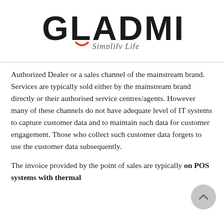[Figure (logo): GLADMINDS logo with a red/orange smile accent under the letter A, and tagline 'Simplify Life' in italic below]
Authorized Dealer or a sales channel of the mainstream brand. Services are typically sold either by the mainstream brand directly or their authorised service centres/agents. However many of these channels do not have adequate level of IT systems to capture customer data and to maintain such data for customer engagement. Those who collect such customer data forgets to use the customer data subsequently.
The invoice provided by the point of sales are typically on POS systems with thermal